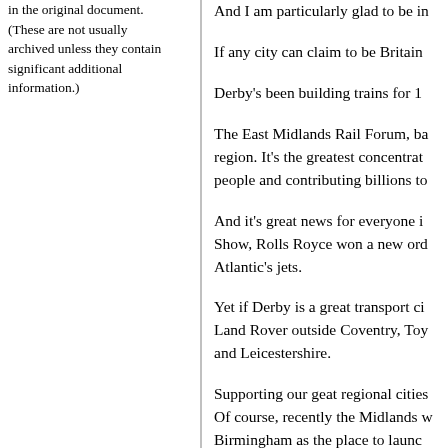in the original document. (These are not usually archived unless they contain significant additional information.)
And I am particularly glad to be in
If any city can claim to be Britain
Derby's been building trains for 1
The East Midlands Rail Forum, ba region. It's the greatest concentrat people and contributing billions to
And it's great news for everyone i Show, Rolls Royce won a new ord Atlantic's jets.
Yet if Derby is a great transport ci Land Rover outside Coventry, Toy and Leicestershire.
Supporting our geat regional cities Of course, recently the Midlands w Birmingham as the place to launc